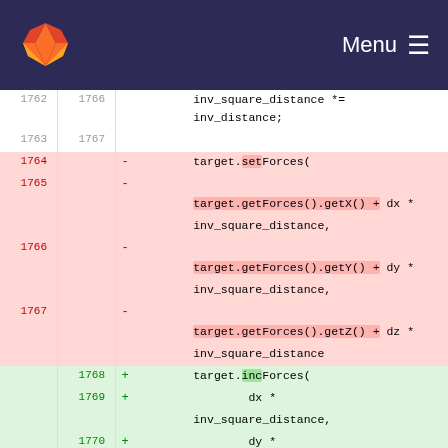GitLab navigation bar with logo and Menu
[Figure (screenshot): Code diff view showing changes to a physics simulation file. Removed lines 1764-1767 use target.setForces() with target.getForces().getX()/getY()/getZ() pattern. Added lines 1768-1770+ use target.incForces() with dx, dy * inv_square_distance.]